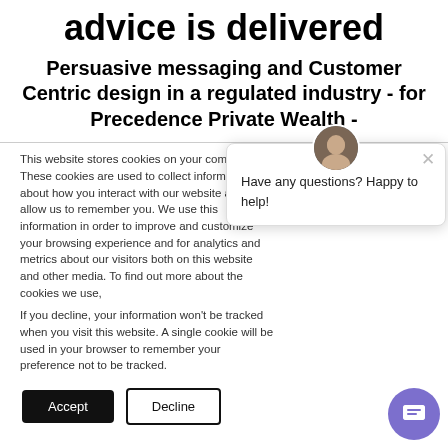advice is delivered
Persuasive messaging and Customer Centric design in a regulated industry - for Precedence Private Wealth -
This website stores cookies on your computer. These cookies are used to collect information about how you interact with our website and allow us to remember you. We use this information in order to improve and customize your browsing experience and for analytics and metrics about our visitors both on this website and other media. To find out more about the cookies we use, see our Privacy Policy.
If you decline, your information won't be tracked when you visit this website. A single cookie will be used in your browser to remember your preference not to be tracked.
[Figure (screenshot): Chat popup with avatar and message: Have any questions? Happy to help!]
[Figure (illustration): Purple circular chat FAB button with chat icon]